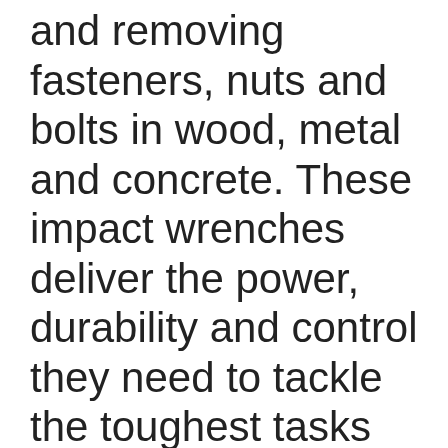and removing fasteners, nuts and bolts in wood, metal and concrete. These impact wrenches deliver the power, durability and control they need to tackle the toughest tasks on the jobsite. They have 400 Feet/Pound of torque to perform a wide range of heavy duty fastening applications
Search for
1  BEST ADJUSTABLE TORQUE
2  CORDLESS IMPACT TOOLS